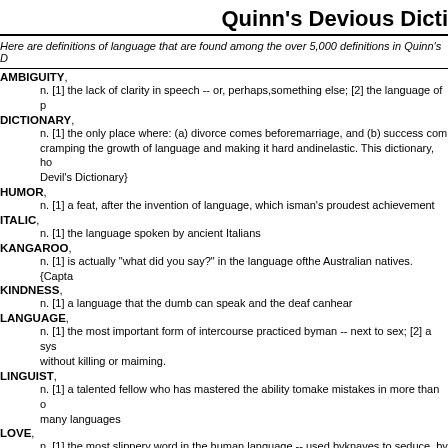Quinn's Devious Dicti
Here are definitions of language that are found among the over 5,000 definitions in Quinn's D
AMBIGUITY, n. [1] the lack of clarity in speech -- or, perhaps,something else; [2] the language of p
DICTIONARY, n. [1] the only place where: (a) divorce comes beforemarriage, and (b) success com cramping the growth of language and making it hard andinelastic. This dictionary, ho Devil's Dictionary}
HUMOR, n. [1] a feat, after the invention of language, which isman's proudest achievement
ITALIC, n. [1] the language spoken by ancient Italians
KANGAROO, n. [1] is actually "what did you say?" in the language ofthe Australian natives. {Capta
KINDNESS, n. [1] a language that the dumb can speak and the deaf canhear
LANGUAGE, n. [1] the most important form of intercourse practiced byman -- next to sex; [2] a sys without killing or maiming.
LINGUIST, n. [1] a talented fellow who has mastered the ability tomake mistakes in more than o many languages
LOVE, n. [1] the most slippery word in the human language -- used byknaves to seduce, by of the species
OFFICIALESE, n. [1] a government language where you can understandthe words, but not the sente
PHILOSOPHY, n. [1] a system of labeling and redefining our language toallow us to rescue the absu
POET(S), n. [1] an individual so in love with language who can, for thesake of art, survive any l
RIOT,